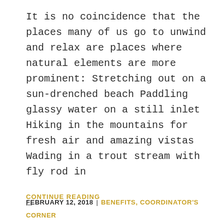It is no coincidence that the places many of us go to unwind and relax are places where natural elements are more prominent: Stretching out on a sun-drenched beach Paddling glassy water on a still inlet Hiking in the mountains for fresh air and amazing vistas Wading in a trout stream with fly rod in ...
CONTINUE READING
FEBRUARY 12, 2018 | BENEFITS, COORDINATOR'S CORNER